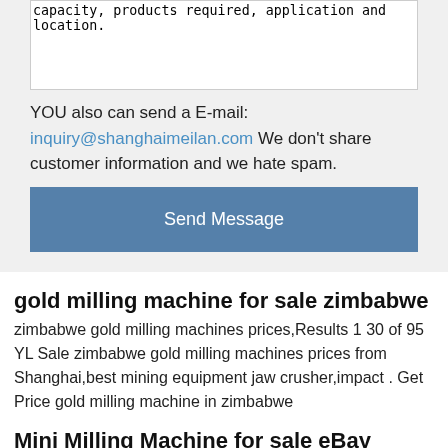capacity, products required, application and location.
YOU also can send a E-mail: inquiry@shanghaimeilan.com We don't share customer information and we hate spam.
Send Message
gold milling machine for sale zimbabwe
zimbabwe gold milling machines prices,Results 1 30 of 95 YL Sale zimbabwe gold milling machines prices from Shanghai,best mining equipment jaw crusher,impact . Get Price gold milling machine in zimbabwe
Mini Milling Machine for sale eBay
3 product ratings 3 product ratings Mini Drilling & Milling Machine 600W Motor Extra Wide Cross Table.